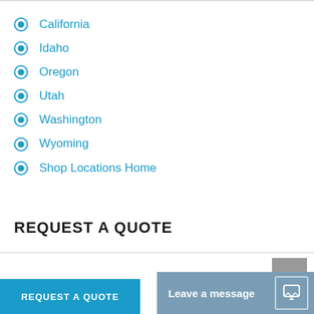California
Idaho
Oregon
Utah
Washington
Wyoming
Shop Locations Home
REQUEST A QUOTE
Leave a message